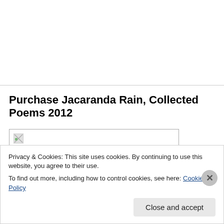Purchase Jacaranda Rain, Collected Poems 2012
[Figure (photo): Broken/loading image placeholder for book cover]
Privacy & Cookies: This site uses cookies. By continuing to use this website, you agree to their use.
To find out more, including how to control cookies, see here: Cookie Policy
Close and accept